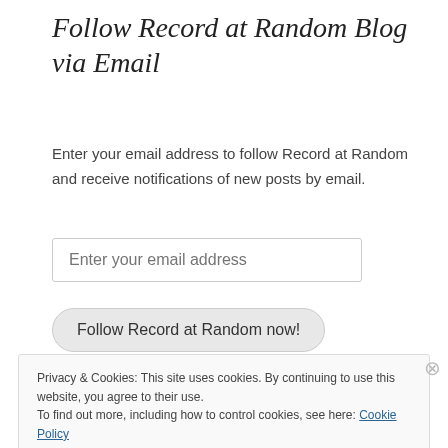Follow Record at Random Blog via Email
Enter your email address to follow Record at Random and receive notifications of new posts by email.
[Figure (other): Email input text field with placeholder 'Enter your email address']
[Figure (other): Button labeled 'Follow Record at Random now!']
Privacy & Cookies: This site uses cookies. By continuing to use this website, you agree to their use.
To find out more, including how to control cookies, see here: Cookie Policy
[Figure (other): Close and accept button]